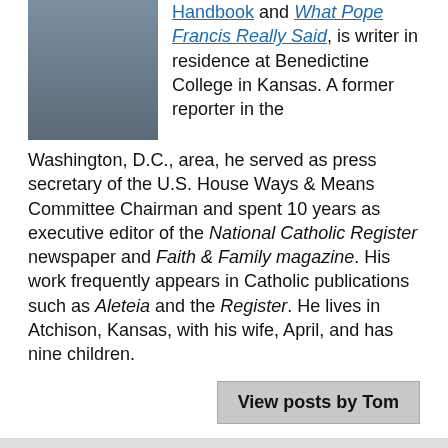[Figure (photo): Headshot photo of a man in a suit with a beard]
Handbook and What Pope Francis Really Said, is writer in residence at Benedictine College in Kansas. A former reporter in the Washington, D.C., area, he served as press secretary of the U.S. House Ways & Means Committee Chairman and spent 10 years as executive editor of the National Catholic Register newspaper and Faith & Family magazine. His work frequently appears in Catholic publications such as Aleteia and the Register. He lives in Atchison, Kansas, with his wife, April, and has nine children.
View posts by Tom
Site Search